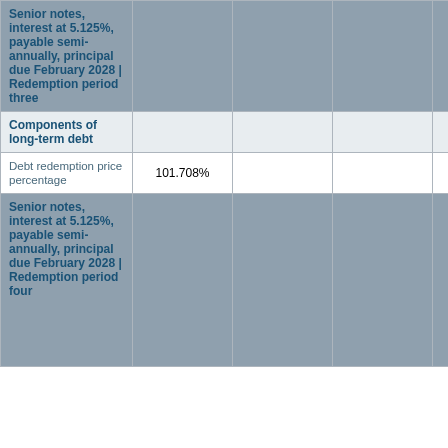|  |  |  |  |  |
| --- | --- | --- | --- | --- |
| Senior notes, interest at 5.125%, payable semi-annually, principal due February 2028 | Redemption period three |  |  |  |  |
| Components of long-term debt |  |  |  |  |
| Debt redemption price percentage | 101.708% |  |  |  |
| Senior notes, interest at 5.125%, payable semi-annually, principal due February 2028 | Redemption period four |  |  |  |  |